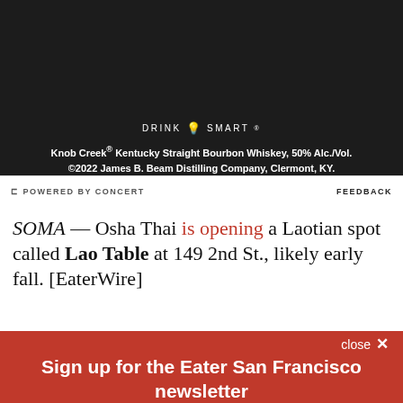[Figure (photo): Dark textured background advertisement for Knob Creek bourbon with DRINK SMART logo and legal text]
DRINK SMART®
Knob Creek® Kentucky Straight Bourbon Whiskey, 50% Alc./Vol. ©2022 James B. Beam Distilling Company, Clermont, KY.
⊏ POWERED BY CONCERT      FEEDBACK
SOMA — Osha Thai is opening a Laotian spot called Lao Table at 149 2nd St., likely early fall. [EaterWire]
close ✕
Sign up for the Eater San Francisco newsletter
The freshest news from the local food world
Email (required)
SUBSCRIBE
By submitting your email, you agree to our Terms and Privacy Notice. You can opt out at any time. This site is protected by reCAPTCHA and the Google Privacy Policy and Terms of Service apply.